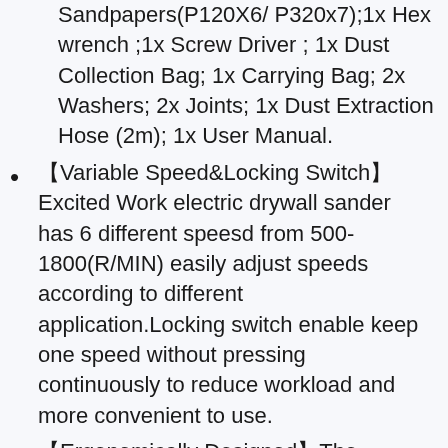Sandpapers(P120X6/ P320x7);1x Hex wrench ;1x Screw Driver ; 1x Dust Collection Bag; 1x Carrying Bag; 2x Washers; 2x Joints; 1x Dust Extraction Hose (2m); 1x User Manual.
【Variable Speed&Locking Switch】Excited Work electric drywall sander has 6 different speesd from 500-1800(R/MIN) easily adjust speeds according to different application.Locking switch enable keep one speed without pressing continuously to reduce workload and more convenient to use.
【Ergonomically Designed】The rubberized handle can increase the friction between it and the...